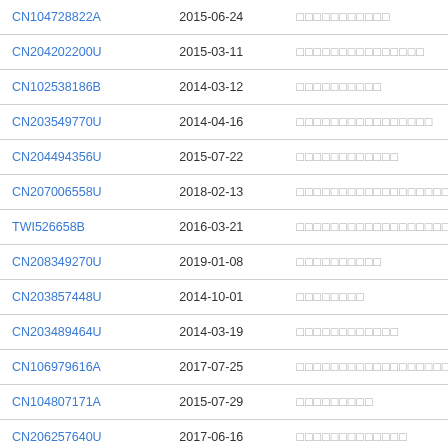| CN104728822A | 2015-06-24 | □□□□□□□□□□□ |
| CN204202200U | 2015-03-11 | □□□□□□□□□□□□□□□ |
| CN102538186B | 2014-03-12 | □□□□□□□□□□ |
| CN203549770U | 2014-04-16 | □□□□□□□□□□□□□□□□ |
| CN204494356U | 2015-07-22 | □□□□□□□□□□□□ |
| CN207006558U | 2018-02-13 | □□□□□□□□□□□□□□□□□□□□ |
| TWI526658B | 2016-03-21 | □□□□□□□□□□□□□□□□□□□□ |
| CN208349270U | 2019-01-08 | □□□□□□□□□□ |
| CN203857448U | 2014-10-01 | □□□□□□□□ |
| CN203489464U | 2014-03-19 | □□□□□□□□□□□□ |
| CN106979616A | 2017-07-25 | □□□□□□□□□□□□□□□□□□□□ |
| CN104807171A | 2015-07-29 | □□□□□□□□□ |
| CN206257640U | 2017-06-16 | □□□□□□□□□□□□□ |